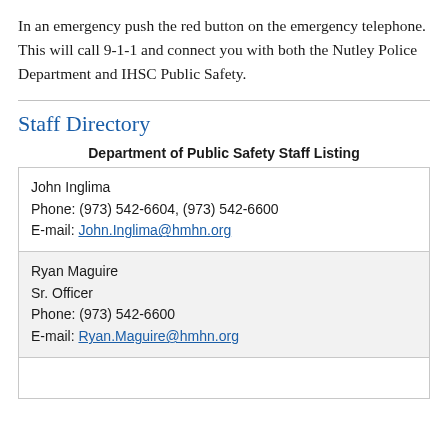In an emergency push the red button on the emergency telephone. This will call 9-1-1 and connect you with both the Nutley Police Department and IHSC Public Safety.
Staff Directory
| Department of Public Safety Staff Listing |
| --- |
| John Inglima
Phone: (973) 542-6604, (973) 542-6600
E-mail: John.Inglima@hmhn.org |
| Ryan Maguire
Sr. Officer
Phone: (973) 542-6600
E-mail: Ryan.Maguire@hmhn.org |
|  |